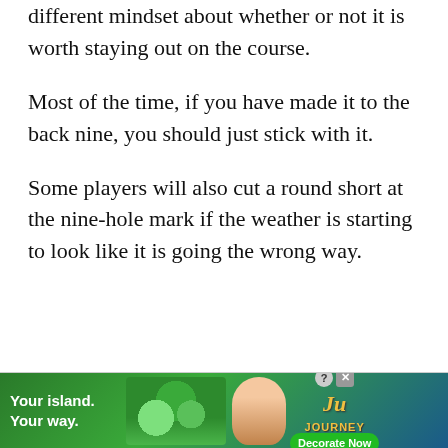different mindset about whether or not it is worth staying out on the course.
Most of the time, if you have made it to the back nine, you should just stick with it.
Some players will also cut a round short at the nine-hole mark if the weather is starting to look like it is going the wrong way.
[Figure (other): Advertisement banner for Ju Journey mobile game. Shows 'Your island. Your way.' text on a green tropical background with game character and Decorate Now button.]